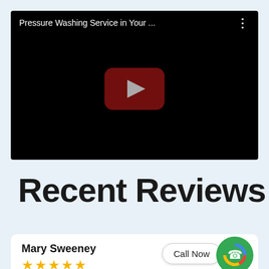[Figure (screenshot): YouTube video thumbnail with black background, title 'Pressure Washing Service in Your ...' in white text, a YouTube play button in the center (dark red rounded rectangle with grey play triangle), and a three-dot menu icon in the top right.]
Recent Reviews
Mary Sweeney
[Figure (other): Five yellow star rating icons]
Call Now
[Figure (logo): Google icon with green phone circle overlay (call button)]